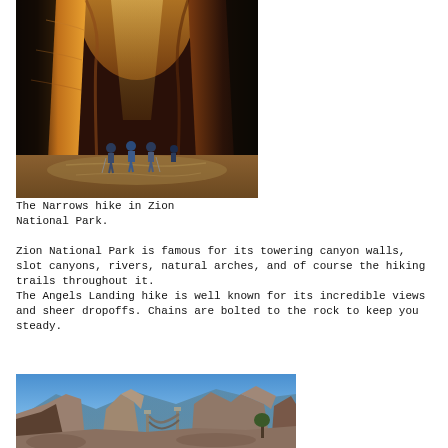[Figure (photo): Hikers walking through The Narrows slot canyon in Zion National Park, with towering golden-lit narrow sandstone walls above and shallow water/sandy floor below]
The Narrows hike in Zion National Park.
Zion National Park is famous for its towering canyon walls, slot canyons, rivers, natural arches, and of course the hiking trails throughout it.
The Angels Landing hike is well known for its incredible views and sheer dropoffs. Chains are bolted to the rock to keep you steady.
[Figure (photo): Angels Landing hike at Zion National Park showing rocky terrain with chains bolted into the rock, blue sky overhead and canyon views in background]